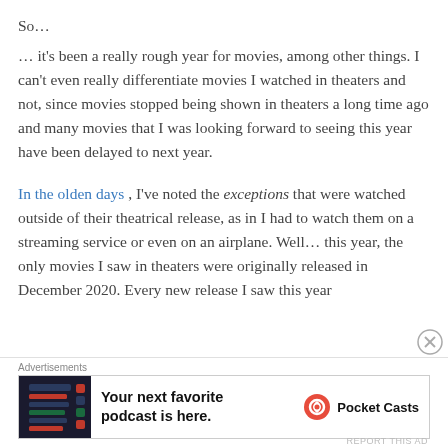So…
… it's been a really rough year for movies, among other things. I can't even really differentiate movies I watched in theaters and not, since movies stopped being shown in theaters a long time ago and many movies that I was looking forward to seeing this year have been delayed to next year.
In the olden days , I've noted the exceptions that were watched outside of their theatrical release, as in I had to watch them on a streaming service or even on an airplane. Well… this year, the only movies I saw in theaters were originally released in December 2020. Every new release I saw this year
[Figure (screenshot): Pocket Casts advertisement banner: 'Your next favorite podcast is here.' with Pocket Casts logo]